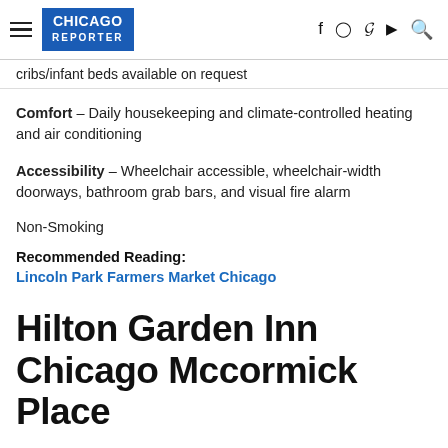Chicago Reporter
cribs/infant beds available on request
Comfort – Daily housekeeping and climate-controlled heating and air conditioning
Accessibility – Wheelchair accessible, wheelchair-width doorways, bathroom grab bars, and visual fire alarm
Non-Smoking
Recommended Reading:
Lincoln Park Farmers Market Chicago
Hilton Garden Inn Chicago Mccormick Place